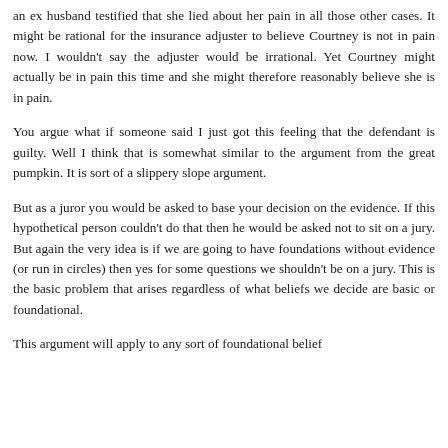an ex husband testified that she lied about her pain in all those other cases. It might be rational for the insurance adjuster to believe Courtney is not in pain now. I wouldn't say the adjuster would be irrational. Yet Courtney might actually be in pain this time and she might therefore reasonably believe she is in pain.
You argue what if someone said I just got this feeling that the defendant is guilty. Well I think that is somewhat similar to the argument from the great pumpkin. It is sort of a slippery slope argument.
But as a juror you would be asked to base your decision on the evidence. If this hypothetical person couldn't do that then he would be asked not to sit on a jury. But again the very idea is if we are going to have foundations without evidence (or run in circles) then yes for some questions we shouldn't be on a jury. This is the basic problem that arises regardless of what beliefs we decide are basic or foundational.
This argument will apply to any sort of foundational belief